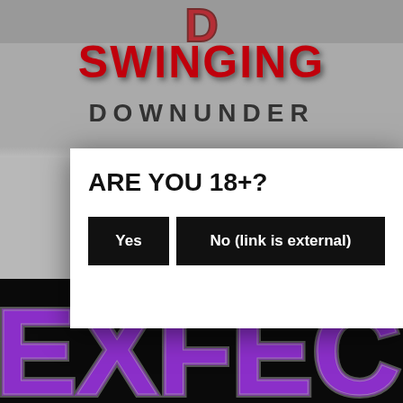[Figure (logo): Swinging Downunder logo with red 3D letters at top and 'SWINGING' in red bold text, 'DOWNUNDER' in dark grey bold tracking text below]
Interview with the owners of po
We h ho we
[Figure (screenshot): Age verification modal dialog with white background. Heading: ARE YOU 18+? Two black buttons: 'Yes' and 'No (link is external)']
[Figure (logo): Dark background with large purple 3D styled letters reading 'EXFECT' (partially visible)]